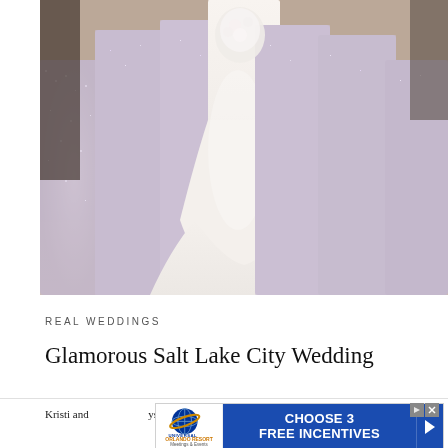[Figure (photo): Wedding photo showing a bride in a white ball gown with a long train, holding a bouquet, surrounded by bridesmaids in floor-length silver/champagne sequined dresses. The group is photographed from approximately waist/chest down, showing the dresses and the bride's train spread on the floor.]
REAL WEDDINGS
Glamorous Salt Lake City Wedding
Kristi and ... ays, the couple co... of a d...